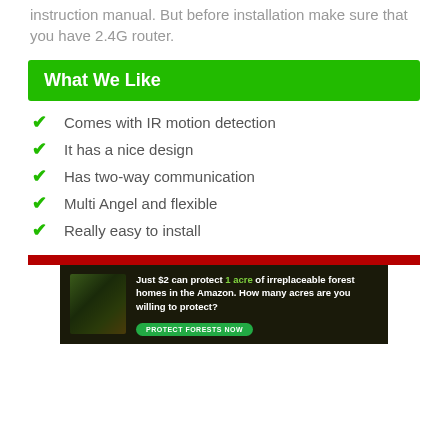instruction manual. But before installation make sure that you have 2.4G router.
What We Like
Comes with IR motion detection
It has a nice design
Has two-way communication
Multi Angel and flexible
Really easy to install
[Figure (infographic): Advertisement banner with dark forest background showing an orangutan, text reading 'Just $2 can protect 1 acre of irreplaceable forest homes in the Amazon. How many acres are you willing to protect?' with a green 'PROTECT FORESTS NOW' button]